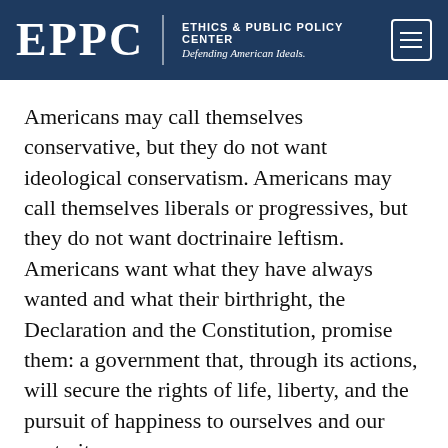EPPC | ETHICS & PUBLIC POLICY CENTER Defending American Ideals.
Americans may call themselves conservative, but they do not want ideological conservatism. Americans may call themselves liberals or progressives, but they do not want doctrinaire leftism. Americans want what they have always wanted and what their birthright, the Declaration and the Constitution, promise them: a government that, through its actions, will secure the rights of life, liberty, and the pursuit of happiness to ourselves and our posterity.
Hoover's ignorance of circumstance and human nature made Roosevelt possible. Indulging the